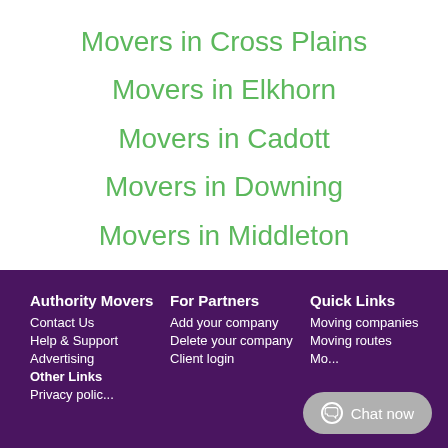Movers in Cross Plains
Movers in Elkhorn
Movers in Cadott
Movers in Downing
Movers in Middleton
Authority Movers | Contact Us | Help & Support | Advertising | Other Links | For Partners | Add your company | Delete your company | Client login | Quick Links | Moving companies | Moving routes | Chat now